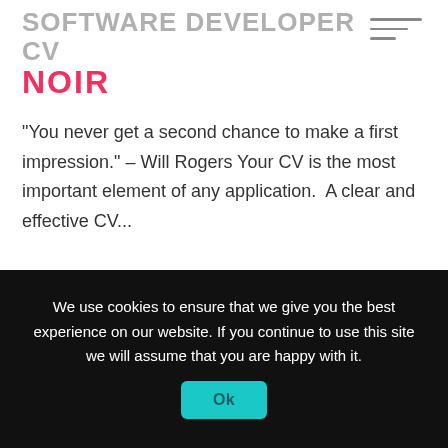SOFTWARE DEVELOPER CV NOIR
“You never get a second chance to make a first impression.” – Will Rogers Your CV is the most important element of any application.  A clear and effective CV...
Read more
We use cookies to ensure that we give you the best experience on our website. If you continue to use this site we will assume that you are happy with it.
Ok